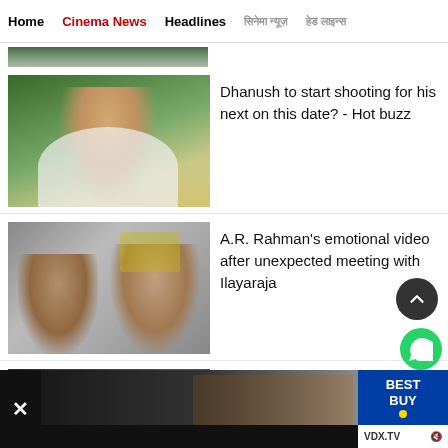Home | Cinema News | Headlines | [Hindi text] | [Hindi text]
[Figure (photo): Partial top image strip - cropped photo]
[Figure (photo): Photo of Dhanush, Tamil actor, outdoor portrait]
Dhanush to start shooting for his next on this date? - Hot buzz
[Figure (photo): Selfie photo of A.R. Rahman with Ilayaraja at what appears to be an airport]
A.R. Rahman's emotional video after unexpected meeting with Ilayaraja
[Figure (photo): Partial photo of Actress Divya, dark background]
Actress Divya returns to the cinema! but not a...